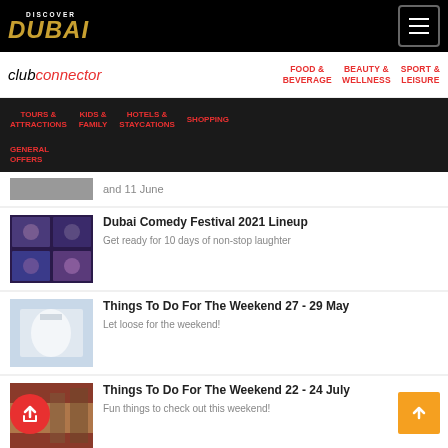Discover Dubai - Club Connector
FOOD & BEVERAGE | BEAUTY & WELLNESS | SPORT & LEISURE
TOURS & ATTRACTIONS | KIDS & FAMILY | HOTELS & STAYCATIONS | SHOPPING
GENERAL OFFERS
and 11 June
Dubai Comedy Festival 2021 Lineup
Get ready for 10 days of non-stop laughter
Things To Do For The Weekend 27 - 29 May
Let loose for the weekend!
Things To Do For The Weekend 22 - 24 July
Fun things to check out this weekend!
Metro Music Festival Is Back!
The festival will run from 16 to 22 March
The Daycation For Mums This...